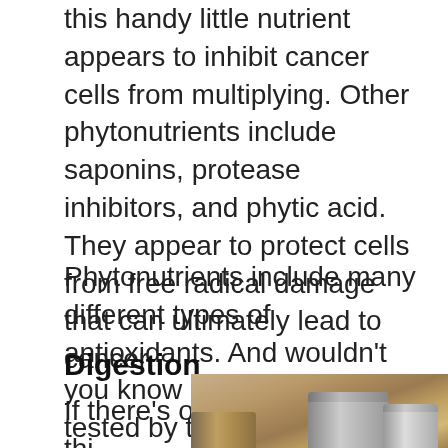this handy little nutrient appears to inhibit cancer cells from multiplying. Other phytonutrients include saponins, protease inhibitors, and phytic acid. They appear to protect cells from free radical damage that can ultimately lead to cancer.
Phytonutrients include many different types of antioxidants. And wouldn't you know it, of all the foods tested by the USDA for antioxidant capacity, red kidney beans scored top four. Pretty powerful little bean if you ask me.
Digestion
If there's one thi...
[Figure (photo): Photograph of metal cans/containers on a surface, partially visible at bottom right of page]